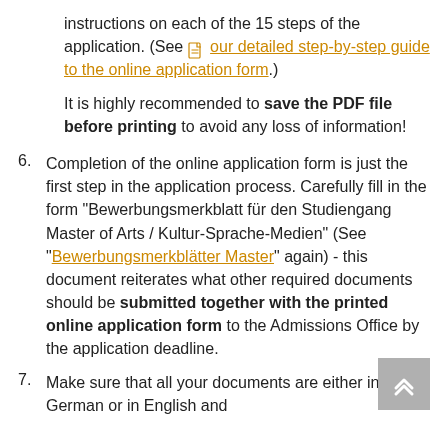continuation: instructions on each of the 15 steps of the application. (See our detailed step-by-step guide to the online application form.)
It is highly recommended to save the PDF file before printing to avoid any loss of information!
6. Completion of the online application form is just the first step in the application process. Carefully fill in the form "Bewerbungsmerkblatt für den Studiengang Master of Arts / Kultur-Sprache-Medien" (See "Bewerbungsmerkblätter Master" again) - this document reiterates what other required documents should be submitted together with the printed online application form to the Admissions Office by the application deadline.
7. Make sure that all your documents are either in German or in English and have to be included...